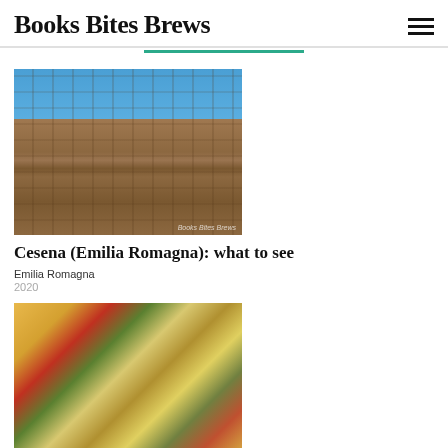Books Bites Brews
[Figure (photo): Photo of a medieval castle (Cesena) with stone towers against a blue sky. Watermark reads Books Bites Brews.]
Cesena (Emilia Romagna): what to see
Emilia Romagna
2020
[Figure (photo): Photo of rice and mussel salad with vegetables. Watermark reads Books Bites Brews.]
Rice and mussel salad with black olives and cream
appetizers
2020